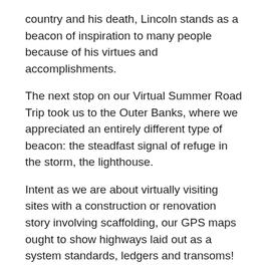country and his death, Lincoln stands as a beacon of inspiration to many people because of his virtues and accomplishments.
The next stop on our Virtual Summer Road Trip took us to the Outer Banks, where we appreciated an entirely different type of beacon: the steadfast signal of refuge in the storm, the lighthouse.
Intent as we are about virtually visiting sites with a construction or renovation story involving scaffolding, our GPS maps ought to show highways laid out as a system standards, ledgers and transoms!
When we encountered this video during our trip planning, Bodie Island Lighthouse, and saw the role scaffolding had in the story of its 2011 renovation, we knew it was worth a stop.